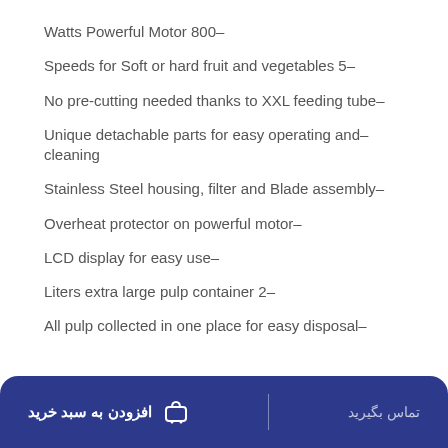Watts Powerful Motor 800–
Speeds for Soft or hard fruit and vegetables 5–
No pre-cutting needed thanks to XXL feeding tube–
Unique detachable parts for easy operating and– cleaning
Stainless Steel housing, filter and Blade assembly–
Overheat protector on powerful motor–
LCD display for easy use–
Liters extra large pulp container 2–
All pulp collected in one place for easy disposal–
افزودن به سبد خرید | تماس بگیرید